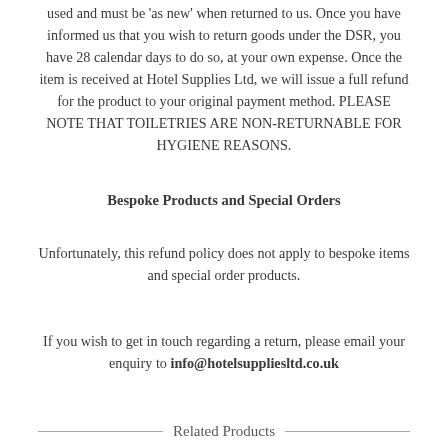used and must be 'as new' when returned to us. Once you have informed us that you wish to return goods under the DSR, you have 28 calendar days to do so, at your own expense. Once the item is received at Hotel Supplies Ltd, we will issue a full refund for the product to your original payment method. PLEASE NOTE THAT TOILETRIES ARE NON-RETURNABLE FOR HYGIENE REASONS.
Bespoke Products and Special Orders
Unfortunately, this refund policy does not apply to bespoke items and special order products.
If you wish to get in touch regarding a return, please email your enquiry to info@hotelsuppliesltd.co.uk
Related Products